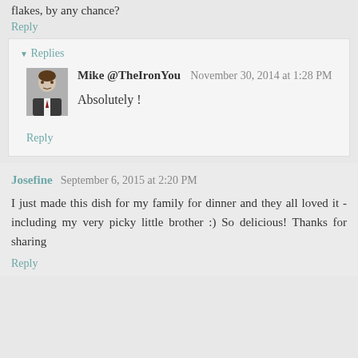flakes, by any chance?
Reply
▾ Replies
Mike @TheIronYou   November 30, 2014 at 1:28 PM
Absolutely!
Reply
Josefine   September 6, 2015 at 2:20 PM
I just made this dish for my family for dinner and they all loved it - including my very picky little brother :) So delicious! Thanks for sharing